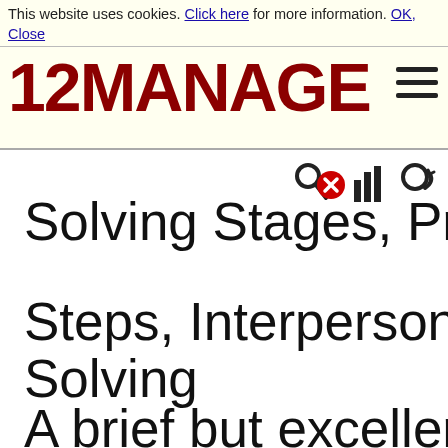This website uses cookies. Click here for more information. OK, Close
[Figure (logo): 12MANAGE logo in dark red bold text with hamburger menu icon]
Solving Stages, Pro... Steps, Interpersona... Solving
A brief but excellent about some key asp... effective (personal)